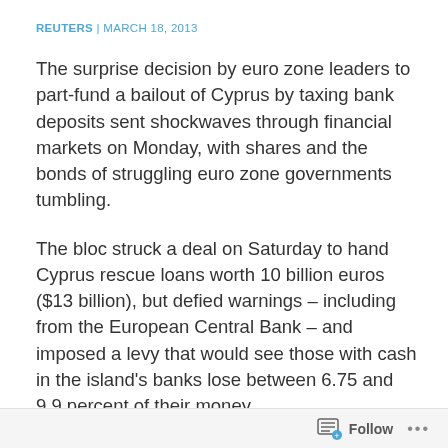REUTERS | MARCH 18, 2013
The surprise decision by euro zone leaders to part-fund a bailout of Cyprus by taxing bank deposits sent shockwaves through financial markets on Monday, with shares and the bonds of struggling euro zone governments tumbling.
The bloc struck a deal on Saturday to hand Cyprus rescue loans worth 10 billion euros ($13 billion), but defied warnings – including from the European Central Bank – and imposed a levy that would see those with cash in the island's banks lose between 6.75 and 9.9 percent of their money.
Parliament in Cyprus put off a vote on the measure –